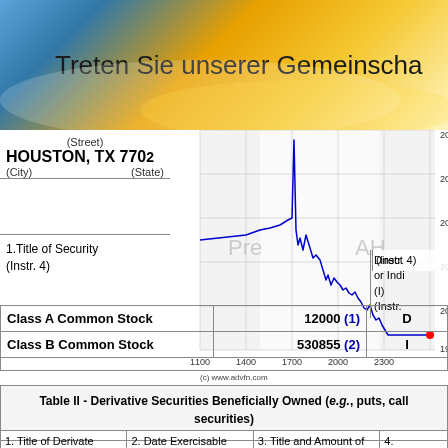Treten Sie unserer Gemeinschaft bei
(Street)
HOUSTON, TX 770
(City)    (State)
[Figure (continuous-plot): Stock price line chart showing intraday trading from approximately 1100 to 2300 time range. Price ranges from about 19.8 to 20.8. Chart has 'Pre' and 'AH' watermarks indicating pre-market and after-hours regions. Blue line showing sharp drop around 1700 then stabilizing near 19.8. Red dot at end. Source: (c) www.advfn.com]
1.Title of Security
(Instr. 4)
(Instr. 4)
Direct or Indirect (I) (Instr.
| Security | Amount | D/I |
| --- | --- | --- |
| Class A Common Stock | 12000 (1) | D |
| Class B Common Stock | 530855 (2) | I |
Table II - Derivative Securities Beneficially Owned (e.g., puts, calls, warrants, options, convertible securities)
| 1. Title of Derivative Security | 2. Date Exercisable and Expiration Date | 3. Title and Amount of Securities Underlying | 4. |
| --- | --- | --- | --- |